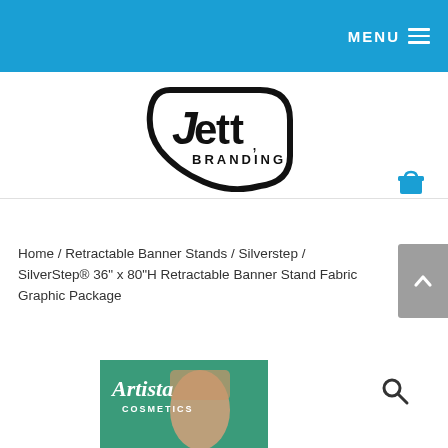MENU
[Figure (logo): Jett Branding logo — stylized shield/leaf shape outline in black with 'Jett' in bold lowercase and 'BRANDING' beneath]
Home / Retractable Banner Stands / Silverstep / SilverStep® 36" x 80"H Retractable Banner Stand Fabric Graphic Package
[Figure (photo): Partial product photo showing a retractable banner stand with 'Artista Cosmetics' printed on green background with a person's face]